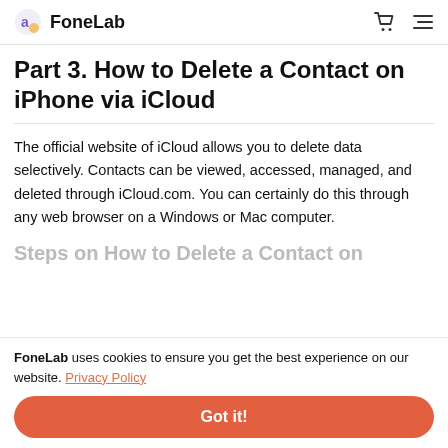FoneLab
Part 3. How to Delete a Contact on iPhone via iCloud
The official website of iCloud allows you to delete data selectively. Contacts can be viewed, accessed, managed, and deleted through iCloud.com. You can certainly do this through any web browser on a Windows or Mac computer.
Steps on How to Delete a Contact on iPhone via
FoneLab uses cookies to ensure you get the best experience on our website. Privacy Policy
Got it!